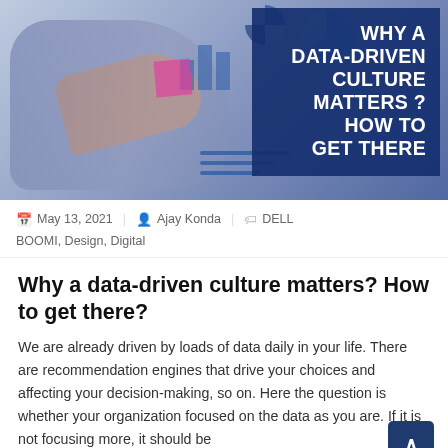[Figure (photo): Hero banner image showing hands pointing at charts and graphs on a whiteboard/screen, with a dark blue overlay box on the right containing white bold text: WHY A DATA-DRIVEN CULTURE MATTERS ? HOW TO GET THERE]
May 13, 2021  |  Ajay Konda  |  DELL BOOMI, Design, Digital
Why a data-driven culture matters? How to get there?
We are already driven by loads of data daily in your life. There are recommendation engines that drive your choices and affecting your decision-making, so on. Here the question is whether your organization focused on the data as you are. If it is not focusing more, it should be